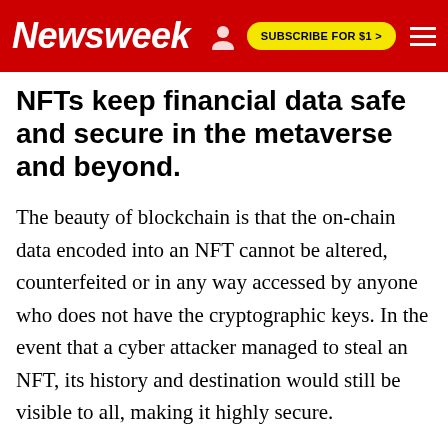Newsweek | SUBSCRIBE FOR $1 >
NFTs keep financial data safe and secure in the metaverse and beyond.
The beauty of blockchain is that the on-chain data encoded into an NFT cannot be altered, counterfeited or in any way accessed by anyone who does not have the cryptographic keys. In the event that a cyber attacker managed to steal an NFT, its history and destination would still be visible to all, making it highly secure.
This creates important opportunities for